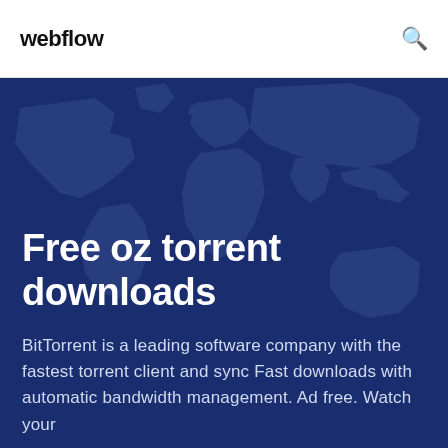webflow
Free oz torrent downloads
BitTorrent is a leading software company with the fastest torrent client and sync Fast downloads with automatic bandwidth management. Ad free. Watch your